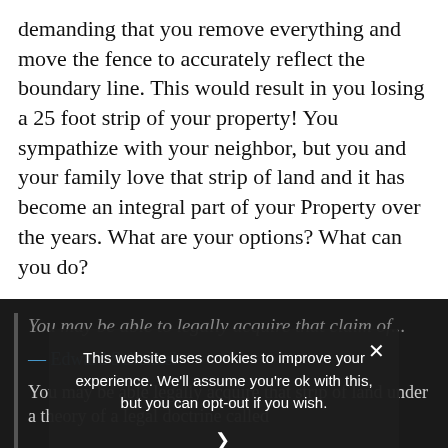demanding that you remove everything and move the fence to accurately reflect the boundary line. This would result in you losing a 25 foot strip of your property! You sympathize with your neighbor, but you and your family love that strip of land and it has become an integral part of your Property over the years. What are your options? What can you do?
You may be able to legally acquire that claim of...
— Edward Schenkel
This website uses cookies to improve your experience. We'll assume you're ok with this, but you can opt-out if you wish.
Privacy Preferences
I Agree
You may be able legally acquire that strip of land under a theory of a legal doctrine called